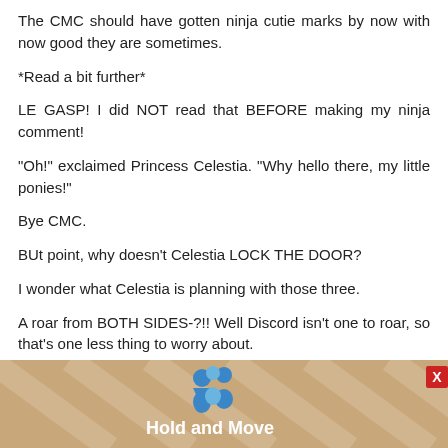The CMC should have gotten ninja cutie marks by now with now good they are sometimes.
*Read a bit further*
LE GASP! I did NOT read that BEFORE making my ninja comment!
“Oh!” exclaimed Princess Celestia. “Why hello there, my little ponies!”
Bye CMC.
BUt point, why doesn't Celestia LOCK THE DOOR?
I wonder what Celestia is planning with those three.
A roar from BOTH SIDES-?!! Well Discord isn't one to roar, so that's one less thing to worry about.
Well. At least with Minty technically safe (depend on
[Figure (screenshot): Advertisement banner showing 'Hold and Move' app with blue figure icons, close buttons, and partial text on right edge.]